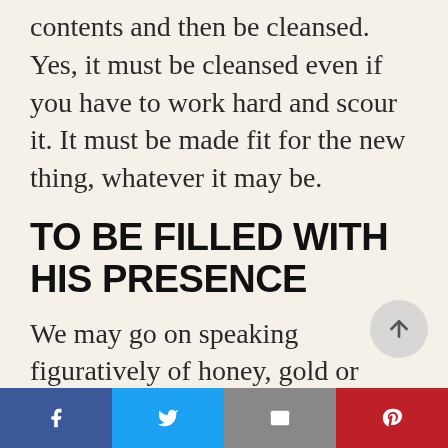contents and then be cleansed. Yes, it must be cleansed even if you have to work hard and scour it. It must be made fit for the new thing, whatever it may be.
TO BE FILLED WITH HIS PRESENCE
We may go on speaking figuratively of honey, gold or wine – but whatever we say we
[Figure (other): Scroll-to-top circular button with upward arrow]
[Figure (infographic): Social sharing bar with Facebook, Twitter, Email, and Pinterest buttons]